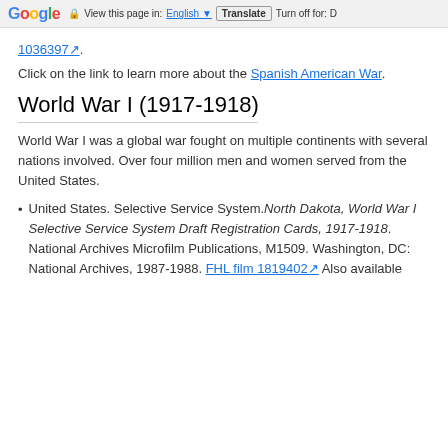Google  View this page in: English  Translate  Turn off for: D
1036397.
Click on the link to learn more about the Spanish American War.
World War I (1917-1918)
World War I was a global war fought on multiple continents with several nations involved. Over four million men and women served from the United States.
United States. Selective Service System. North Dakota, World War I Selective Service System Draft Registration Cards, 1917-1918. National Archives Microfilm Publications, M1509. Washington, DC: National Archives, 1987-1988. FHL film 1819402 Also available